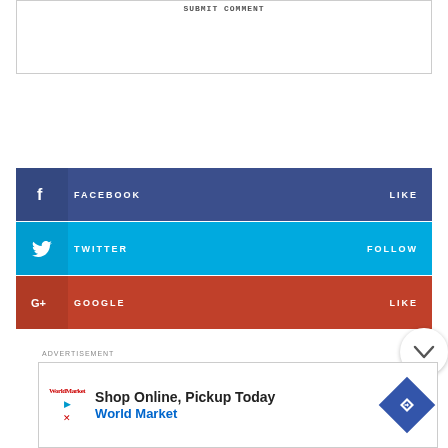SUBMIT COMMENT
[Figure (infographic): Social media follow buttons: Facebook LIKE (dark blue), Twitter FOLLOW (cyan blue), Google LIKE (red-orange)]
ADVERTISEMENT
[Figure (infographic): Advertisement: Shop Online, Pickup Today - World Market, with red navigation arrow icon and World Market logo]